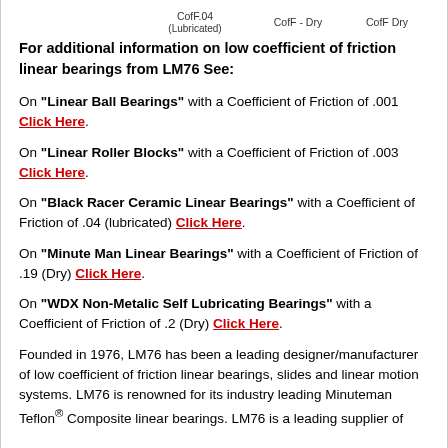CofF.04 (Lubricated)   CofF - Dry   CofF Dry
For additional information on low coefficient of friction linear bearings from LM76 See:
On "Linear Ball Bearings" with a Coefficient of Friction of .001 Click Here.
On "Linear Roller Blocks" with a Coefficient of Friction of .003 Click Here.
On "Black Racer Ceramic Linear Bearings" with a Coefficient of Friction of .04 (lubricated) Click Here.
On "Minute Man Linear Bearings" with a Coefficient of Friction of .19 (Dry) Click Here.
On "WDX Non-Metalic Self Lubricating Bearings" with a Coefficient of Friction of .2 (Dry) Click Here.
Founded in 1976, LM76 has been a leading designer/manufacturer of low coefficient of friction linear bearings, slides and linear motion systems. LM76 is renowned for its industry leading Minuteman Teflon® Composite linear bearings. LM76 is a leading supplier of